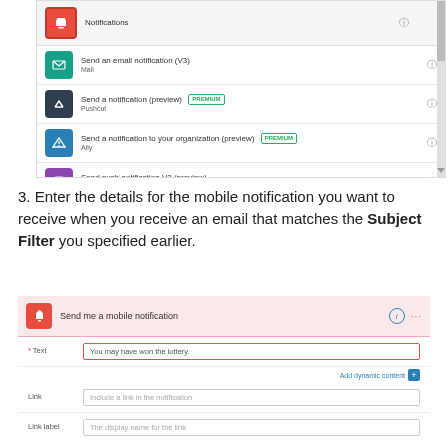[Figure (screenshot): Screenshot of a notification connector list showing: Notifications (highlighted/selected with red border), Send an email notification (V3) / Mail, Send a notification (preview) PREMIUM / Pushcut, Send a notification to your organization (preview) PREMIUM / Ally, Send push notification V2 (preview) / Power Apps Notification V2, with a scrollbar on the right.]
3. Enter the details for the mobile notification you want to receive when you receive an email that matches the Subject Filter you specified earlier.
[Figure (screenshot): Screenshot of a 'Send me a mobile notification' action panel with fields: Text (filled with 'You may have won the lottery.' in a red-bordered input), Link (placeholder: Include a link in the notification), Link label (placeholder: The display name for the link). An 'Add dynamic content' button with blue plus icon appears after the Text field.]